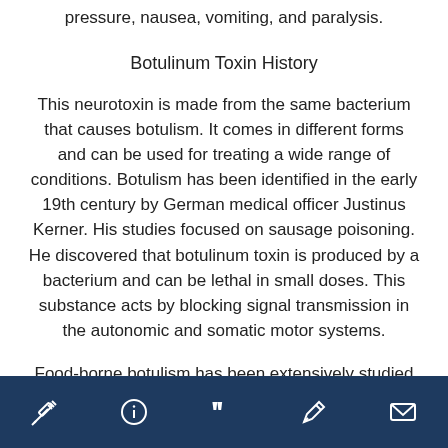pressure, nausea, vomiting, and paralysis.
Botulinum Toxin History
This neurotoxin is made from the same bacterium that causes botulism. It comes in different forms and can be used for treating a wide range of conditions. Botulism has been identified in the early 19th century by German medical officer Justinus Kerner. His studies focused on sausage poisoning. He discovered that botulinum toxin is produced by a bacterium and can be lethal in small doses. This substance acts by blocking signal transmission in the autonomic and somatic motor systems.
Food-borne botulism has been extensively studied
Navigation bar with icons: syringe, info, quote, edit, mail